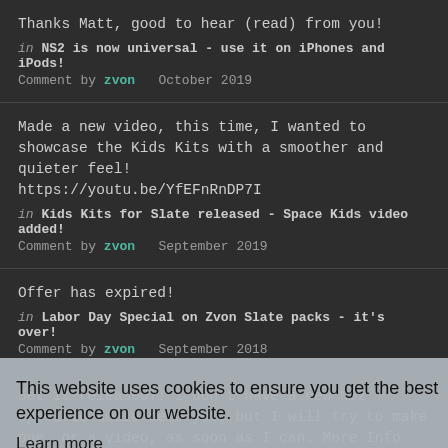Thanks Matt, good to hear (read) from you!
in NS2 is now universal - use it on iPhones and iPods!
Comment by zvon   October 2019
Made a new video, this time, I wanted to showcase the Kids Kits with a smoother and quieter feel! https://youtu.be/YfEFnRnDP7I
in Kids Kits for Slate released - Space Kids video added!
Comment by zvon   September 2019
Offer has expired!
in Labor Day Special on Zvon Slate packs - it's over!
Comment by zvon   September 2018
Set is released!! I don't have a new NS2 specific audio demo yet, but I will try to make one, or a video, as soon as I can. More Info HERE Note that previous buyers of the Kids Kits can email me and, after verification, they will receive the NS2 version for free.
https://youtu.be/1tSbZQG23XQ
This website uses cookies to ensure you get the best experience on our website.
Learn more
Got it!